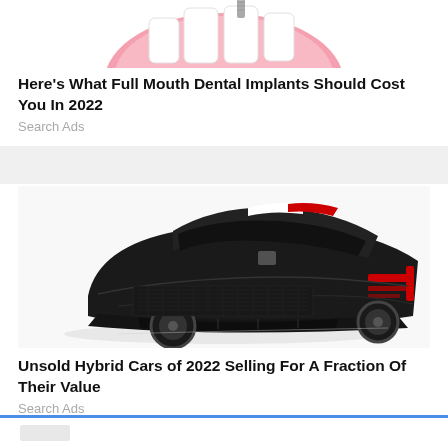[Figure (illustration): Partial pink dental implant / gum illustration visible at top of page, cropped]
Here's What Full Mouth Dental Implants Should Cost You In 2022
Search Ads
[Figure (photo): Dark matte black sports/concept hybrid car photographed from a rear three-quarter angle on a white background, with red accent tail lights]
Unsold Hybrid Cars of 2022 Selling For A Fraction Of Their Value
Search Ads